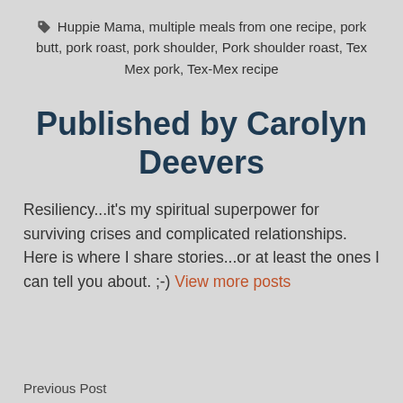Huppie Mama, multiple meals from one recipe, pork butt, pork roast, pork shoulder, Pork shoulder roast, Tex Mex pork, Tex-Mex recipe
Published by Carolyn Deevers
Resiliency...it's my spiritual superpower for surviving crises and complicated relationships. Here is where I share stories...or at least the ones I can tell you about. ;-) View more posts
Previous Post